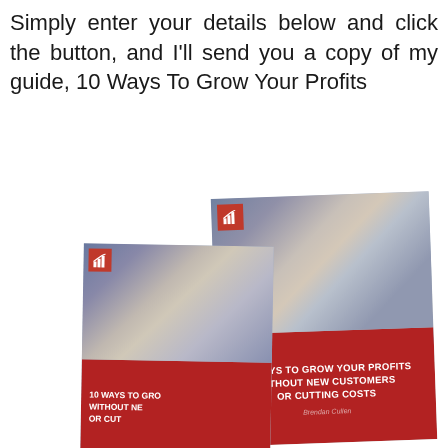Simply enter your details below and click the button, and I'll send you a copy of my guide, 10 Ways To Grow Your Profits
[Figure (illustration): Two book covers titled '10 Ways To Grow Your Profits Without New Customers Or Cutting Costs' by Brendan Cullen, shown at slight angles. Both feature a red-and-white cover design with a bar chart logo and a photo of a businessman pointing. The back/right book is larger and more fully visible; the front/left book is partially cropped.]